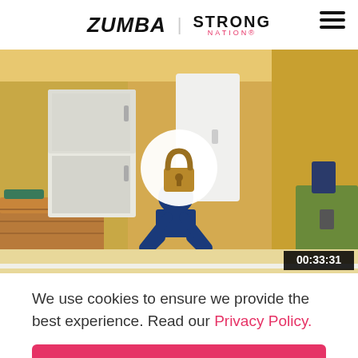[Figure (logo): Zumba and STRONG Nation logos in page header with hamburger menu icon]
[Figure (screenshot): Video thumbnail of a person doing a workout in a room with yellow walls. A white circle with a padlock icon is overlaid in the center indicating locked content. Timestamp 00:33:31 shown in bottom right corner.]
We use cookies to ensure we provide the best experience. Read our Privacy Policy.
ACCEPT